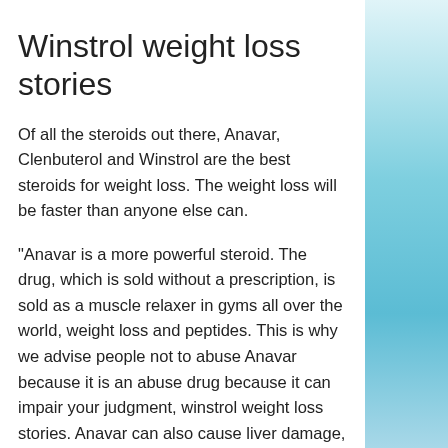Winstrol weight loss stories
Of all the steroids out there, Anavar, Clenbuterol and Winstrol are the best steroids for weight loss. The weight loss will be faster than anyone else can.
"Anavar is a more powerful steroid. The drug, which is sold without a prescription, is sold as a muscle relaxer in gyms all over the world, weight loss and peptides. This is why we advise people not to abuse Anavar because it is an abuse drug because it can impair your judgment, winstrol weight loss stories. Anavar can also cause liver damage, so do not take this drug if you are pregnant.
"Clenbuterol is a steroid that is available for